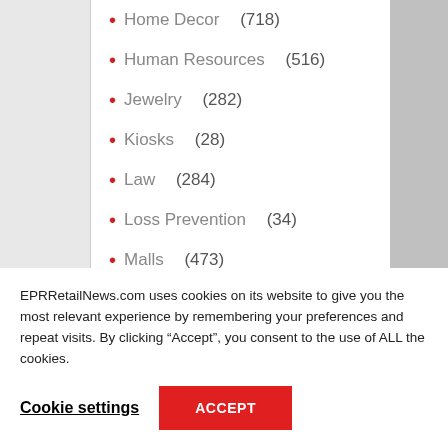Home Decor (718)
Human Resources (516)
Jewelry (282)
Kiosks (28)
Law (284)
Loss Prevention (34)
Malls (473)
Management (12,519)
EPRRetailNews.com uses cookies on its website to give you the most relevant experience by remembering your preferences and repeat visits. By clicking “Accept”, you consent to the use of ALL the cookies.
Cookie settings
ACCEPT